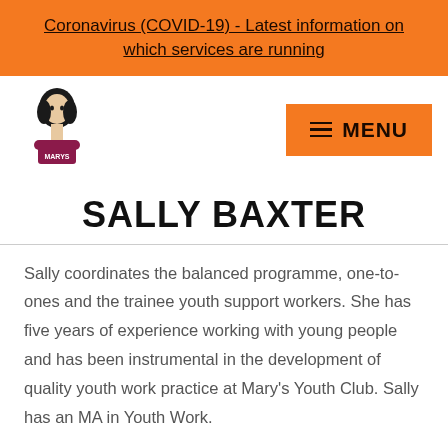Coronavirus (COVID-19) - Latest information on which services are running
[Figure (logo): Mary's Youth Club logo - illustrated figure of a young woman with text MARYS below]
SALLY BAXTER
Sally coordinates the balanced programme, one-to-ones and the trainee youth support workers. She has five years of experience working with young people and has been instrumental in the development of quality youth work practice at Mary's Youth Club. Sally has an MA in Youth Work.